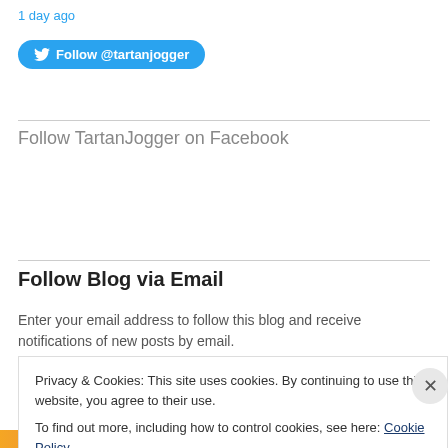1 day ago
[Figure (other): Blue Twitter Follow button with bird icon: Follow @tartanjogger]
Follow TartanJogger on Facebook
Follow Blog via Email
Enter your email address to follow this blog and receive notifications of new posts by email.
Privacy & Cookies: This site uses cookies. By continuing to use this website, you agree to their use.
To find out more, including how to control cookies, see here: Cookie Policy
Close and accept